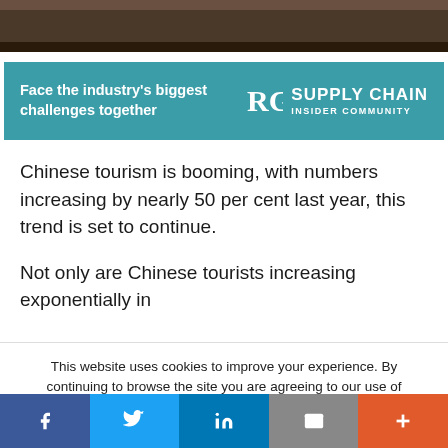[Figure (photo): Cropped photo showing people, dark brownish background]
[Figure (other): Teal advertisement banner: 'Face the industry's biggest challenges together' with Supply Chain Insider Community logo]
Chinese tourism is booming, with numbers increasing by nearly 50 per cent last year, this trend is set to continue.
Not only are Chinese tourists increasing exponentially in
This website uses cookies to improve your experience. By continuing to browse the site you are agreeing to our use of cookies. To find out more please read our privacy policy
Accept - To find out more: Read our updated privacy
[Figure (other): Social media share bar with Facebook, Twitter, LinkedIn, Email, and Plus buttons]